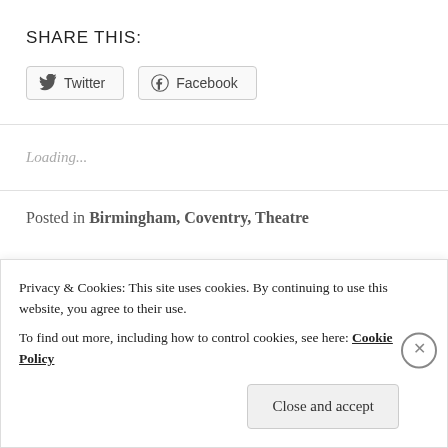SHARE THIS:
Twitter   Facebook
Loading...
Posted in Birmingham, Coventry, Theatre
Privacy & Cookies: This site uses cookies. By continuing to use this website, you agree to their use.
To find out more, including how to control cookies, see here: Cookie Policy
Close and accept